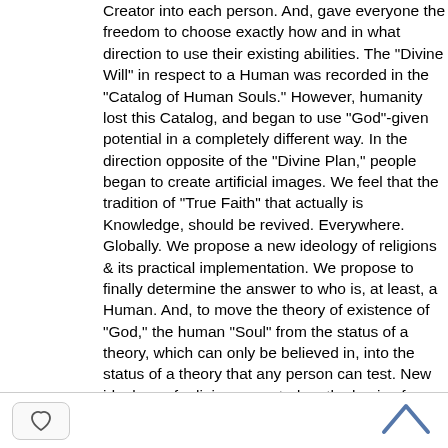Creator into each person. And, gave everyone the freedom to choose exactly how and in what direction to use their existing abilities. The "Divine Will" in respect to a Human was recorded in the "Catalog of Human Souls." However, humanity lost this Catalog, and began to use "God"-given potential in a completely different way. In the direction opposite of the "Divine Plan," people began to create artificial images. We feel that the tradition of "True Faith" that actually is Knowledge, should be revived. Everywhere. Globally. We propose a new ideology of religions & its practical implementation. We propose to finally determine the answer to who is, at least, a Human. And, to move the theory of existence of "God," the human "Soul" from the status of a theory, which can only be believed in, into the status of a theory that any person can test. New ideology of religions, created on the basis of evidence for "God's" existence produced strictly by scientific methods, can bring people back
[Figure (other): UI bar with a heart/like button (rounded rectangle with heart outline icon) on the left and an upward chevron arrow on the right]